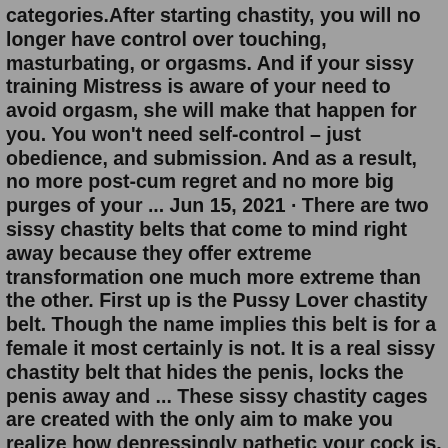categories.After starting chastity, you will no longer have control over touching, masturbating, or orgasms. And if your sissy training Mistress is aware of your need to avoid orgasm, she will make that happen for you. You won't need self-control – just obedience, and submission. And as a result, no more post-cum regret and no more big purges of your ... Jun 15, 2021 · There are two sissy chastity belts that come to mind right away because they offer extreme transformation one much more extreme than the other. First up is the Pussy Lover chastity belt. Though the name implies this belt is for a female it most certainly is not. It is a real sissy chastity belt that hides the penis, locks the penis away and ... These sissy chastity cages are created with the only aim to make you realize how depressingly pathetic your cock is. Once you're locked in one of these cages, you lose whatever residual honor you had before wearing it. After you decide to lock yourself into one of our chastity devices and handover the keys to your master/mistress, you're left ... RULES. 1 -the cleaning